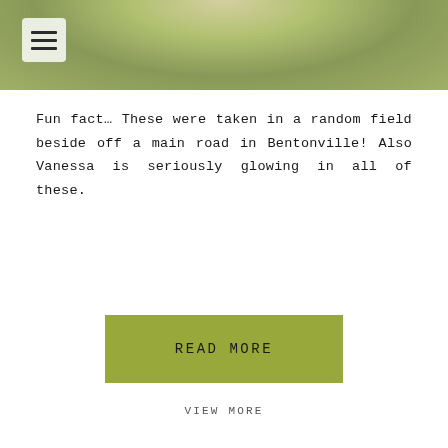[Figure (photo): Outdoor photo header with green/yellow field background and hamburger menu icon in top-left white rounded square]
Fun fact… These were taken in a random field beside off a main road in Bentonville! Also Vanessa is seriously glowing in all of these.
READ MORE
VIEW MORE